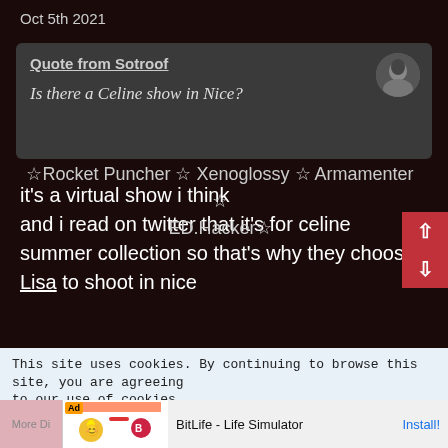Oct 5th 2021
Quote from Sotroof
Is there a Celine show in Nice?
it's a virtual show i think and i read on twitter that it's for celine summer collection so that's why they choose Lisa to shoot in nice
☆Rocket Puncher ☆ Xenoglossy ☆ Armamenter ☆ ED.Hacker☆
This site uses cookies. By continuing to browse this site, you are agreeing to our use of cookies.
BitLife - Life Simulator
Install!